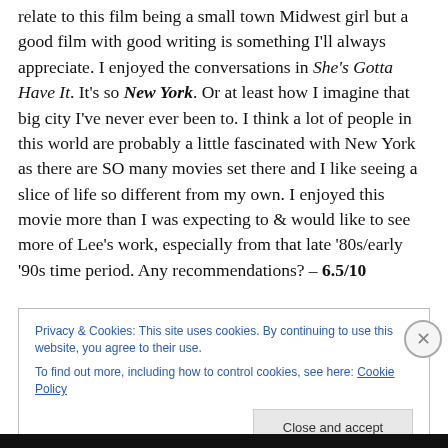relate to this film being a small town Midwest girl but a good film with good writing is something I'll always appreciate. I enjoyed the conversations in She's Gotta Have It. It's so New York. Or at least how I imagine that big city I've never ever been to. I think a lot of people in this world are probably a little fascinated with New York as there are SO many movies set there and I like seeing a slice of life so different from my own. I enjoyed this movie more than I was expecting to & would like to see more of Lee's work, especially from that late '80s/early '90s time period. Any recommendations? – 6.5/10
Privacy & Cookies: This site uses cookies. By continuing to use this website, you agree to their use. To find out more, including how to control cookies, see here: Cookie Policy